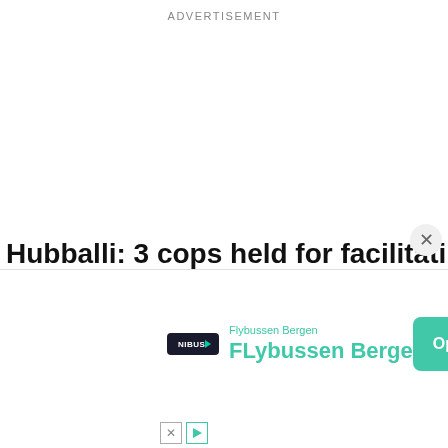ADVERTISEMENT
Hubballi: 3 cops held for facilitating murde
[Figure (infographic): Mobile app advertisement banner for Flybussen Bergen showing logo pill, app name in teal, and an Open button. Footer has X and play icons.]